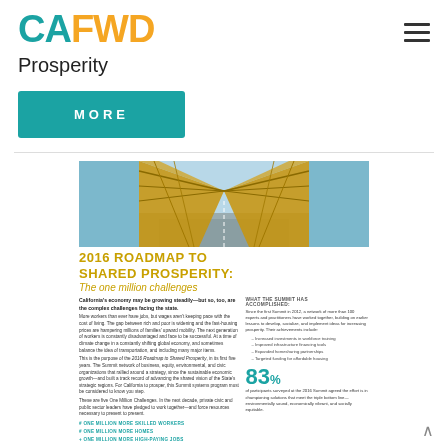[Figure (logo): CAFWD logo with CA in teal and FWD in orange]
Prosperity
MORE
[Figure (photo): Photo of a bridge road perspective looking down the center with metal trusses on both sides]
2016 ROADMAP TO SHARED PROSPERITY: The one million challenges
California's economy may be growing steadily—but so, too, are the complex challenges facing the state.
More workers than ever have jobs, but wages aren't keeping pace with the cost of living. The gap between rich and poor is widening and the fast-housing prices are hampering millions of families' upward mobility. The next generation of workers is constantly disadvantaged and face to be successful. At a time of climate change in a constantly shifting global economy, and sometimes balance the idea of transportation, and including many major items.
This is the purpose of the 2016 Roadmap to Shared Prosperity, in its first five years. The Summit network of business, equity, environmental, and civic organizations that rallied around a strategy, since the sustainable economic growth—and built a track record of advancing the shared vision of the State's strategic regions. For California to prosper, this Summit systems program must be considered to know you step.
These are five One Million Challenges. In the next decade, private civic and public sector leaders have pledged to work together—and force resources necessary to present to present.
# ONE MILLION MORE SKILLED WORKERS
# ONE MILLION MORE HOMES
+ ONE MILLION MORE HIGH-PAYING JOBS
WHAT THE SUMMIT HAS ACCOMPLISHED:
Since the first Summit in 2012, a network of more than 100 experts and practitioners have worked together, building on earlier lessons to develop, socialize, and implement ideas for increasing prosperity. Their achievements include:
Increased investments in workforce training
Improved infrastructure financing tools
Expanded homesharing partnerships
Targeted funding for affordable housing
83% of participants surveyed at the 2016 Summit agreed the effort is in championing solutions that meet the triple bottom line—environmentally sound, economically vibrant, and socially equitable.